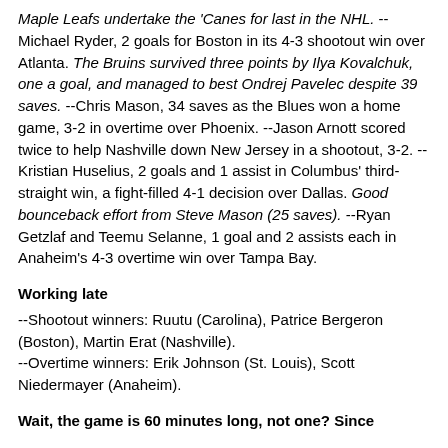Maple Leafs undertake the 'Canes for last in the NHL. --Michael Ryder, 2 goals for Boston in its 4-3 shootout win over Atlanta. The Bruins survived three points by Ilya Kovalchuk, one a goal, and managed to best Ondrej Pavelec despite 39 saves. --Chris Mason, 34 saves as the Blues won a home game, 3-2 in overtime over Phoenix. --Jason Arnott scored twice to help Nashville down New Jersey in a shootout, 3-2. --Kristian Huselius, 2 goals and 1 assist in Columbus' third-straight win, a fight-filled 4-1 decision over Dallas. Good bounceback effort from Steve Mason (25 saves). --Ryan Getzlaf and Teemu Selanne, 1 goal and 2 assists each in Anaheim's 4-3 overtime win over Tampa Bay.
Working late
--Shootout winners: Ruutu (Carolina), Patrice Bergeron (Boston), Martin Erat (Nashville). --Overtime winners: Erik Johnson (St. Louis), Scott Niedermayer (Anaheim).
Wait, the game is 60 minutes long, not one? Since